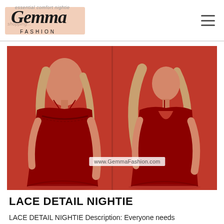Gemma Fashion
[Figure (photo): Two views of a model wearing a red lace detail nightie against a red background. Left view shows front of the garment with spaghetti straps and lace trim. Right view shows the back. Watermark reads www.GemmaFashion.com]
LACE DETAIL NIGHTIE
LACE DETAIL NIGHTIE Description: Everyone needs